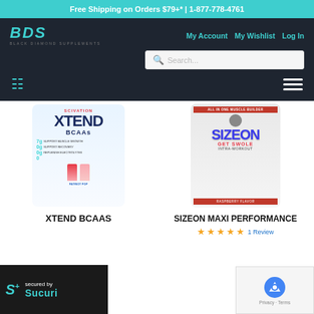Free Shipping on Orders $79+* | 1-877-778-4761
[Figure (logo): Black Diamond Supplements logo - BDS text in teal italic style]
My Account  My Wishlist  Log In
[Figure (screenshot): Search bar with placeholder text 'Search...']
[Figure (photo): XTEND BCAAs product supplement container by Scivation, white bottle with popsicle imagery]
[Figure (photo): SizeOn Maxi Performance intra-workout supplement container, white tub with red and blue design]
XTEND BCAAS
SIZEON MAXI PERFORMANCE
1 Review